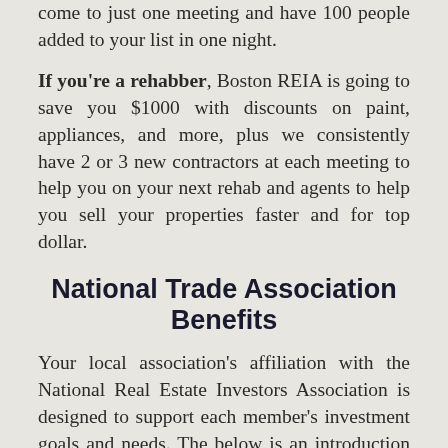come to just one meeting and have 100 people added to your list in one night.
If you're a rehabber, Boston REIA is going to save you $1000 with discounts on paint, appliances, and more, plus we consistently have 2 or 3 new contractors at each meeting to help you on your next rehab and agents to help you sell your properties faster and for top dollar.
National Trade Association Benefits
Your local association's affiliation with the National Real Estate Investors Association is designed to support each member's investment goals and needs. The below is an introduction to the outstanding benefits extended through National REIA membership that comes with your Boston Real Estate Association membership.